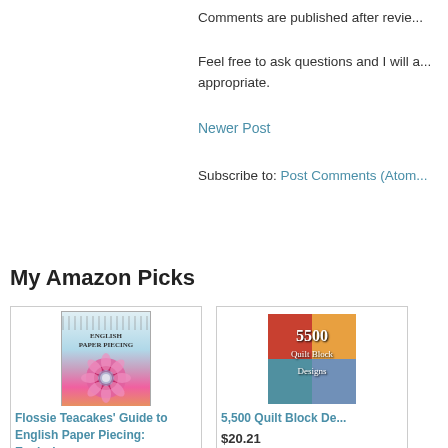Comments are published after revie...
Feel free to ask questions and I will a... appropriate.
Newer Post
Subscribe to: Post Comments (Atom...
My Amazon Picks
[Figure (photo): Book cover for Flossie Teacakes Guide to English Paper Piecing with colorful mandala flower design]
Flossie Teacakes' Guide to English Paper Piecing: Explori...
$20.49 $24.99 prime
[Figure (photo): Book cover for 5500 Quilt Block Designs with colorful quadrant design in red, yellow, teal, blue]
5,500 Quilt Block De...
$20.21